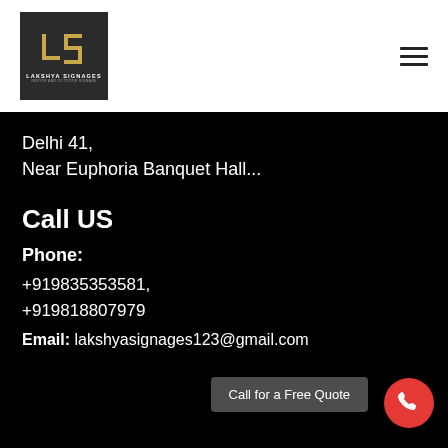[Figure (logo): Lakshya Signages logo — dark grey square with gold geometric LS monogram and company name]
Delhi 41,
Near Euphoria Banquet Hall...
Call US
Phone:
+919835353581,
+919818807979
Email: lakshyasignages123@gmail.com
Call for a Free Quote